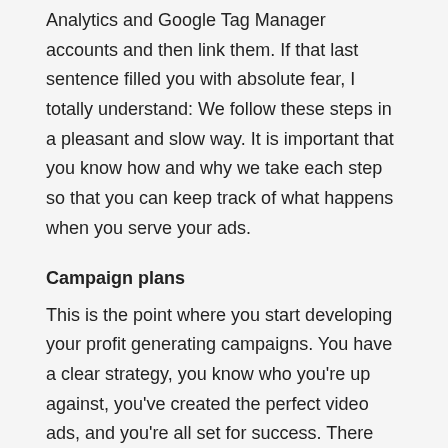Analytics and Google Tag Manager accounts and then link them. If that last sentence filled you with absolute fear, I totally understand: We follow these steps in a pleasant and slow way. It is important that you know how and why we take each step so that you can keep track of what happens when you serve your ads.
Campaign plans
This is the point where you start developing your profit generating campaigns. You have a clear strategy, you know who you're up against, you've created the perfect video ads, and you're all set for success. There are so many ways to develop campaigns and there are so many mistakes that can be made, so I'll walk you through where to start, how to optimize, and then scale. Just think, very soon you will be generating traffic, leads, sales and profits.
Cousin